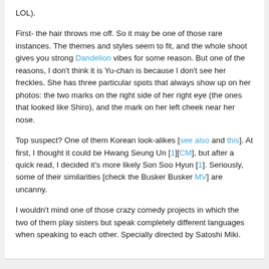LOL).
First- the hair throws me off. So it may be one of those rare instances. The themes and styles seem to fit, and the whole shoot gives you strong Dandelion vibes for some reason. But one of the reasons, I don't think it is Yu-chan is because I don't see her freckles. She has three particular spots that always show up on her photos: the two marks on the right side of her right eye (the ones that looked like Shiro), and the mark on her left cheek near her nose.
Top suspect? One of them Korean look-alikes [see also and this]. At first, I thought it could be Hwang Seung Un [1][CM], but after a quick read, I decided it's more likely Son Soo Hyun [1]. Seriously, some of their similarities [check the Busker Busker MV] are uncanny.
I wouldn't mind one of those crazy comedy projects in which the two of them play sisters but speak completely different languages when speaking to each other. Specially directed by Satoshi Miki.